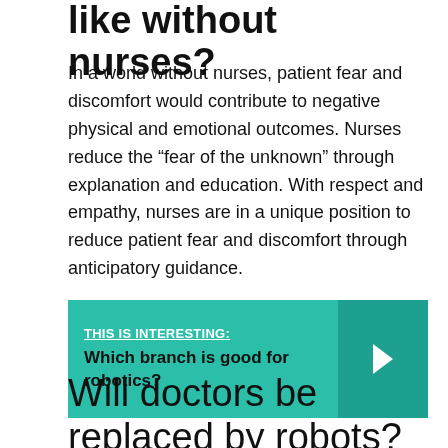like without nurses?
In a world without nurses, patient fear and discomfort would contribute to negative physical and emotional outcomes. Nurses reduce the “fear of the unknown” through explanation and education. With respect and empathy, nurses are in a unique position to reduce patient fear and discomfort through anticipatory guidance.
[Figure (infographic): Teal callout box with label 'THIS IS INTERESTING:' and text 'Which branch is good for robotics?' with a right-arrow chevron on the right side in a darker teal panel.]
Will doctors be replaced by robots?